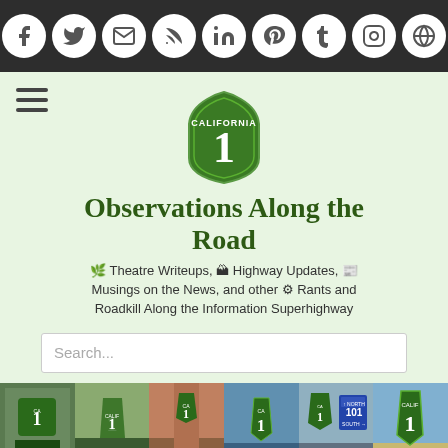Social media icons: Facebook, Twitter, Email, RSS, LinkedIn, Pinterest, Tumblr, Instagram, Globe
[Figure (logo): California 1 highway shield logo — green arrowhead shield with 'CALIFORNIA' at top and '1' in large white text]
Observations Along the Road
Theatre Writeups, Highway Updates, Musings on the News, and other Rants and Roadkill Along the Information Superhighway
[Figure (photo): Photo strip banner showing 6 photos of California Highway 1 road signs in various outdoor settings]
Birthday Wishes for talonvaki
Monday, June 1, 2009   cahwyguy